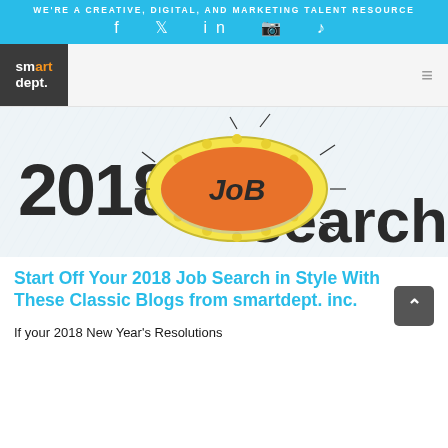WE'RE A CREATIVE, DIGITAL, AND MARKETING TALENT RESOURCE
[Figure (logo): smartdept. logo in white text on dark grey/charcoal square background, with 'art' in orange]
[Figure (illustration): 2018 job search hero image: bold dark text '2018' on left and 'search' on right, with a colorful hand-drawn illustration of a yellow oval badge with orange center and 'JOB' written inside, with lines radiating from it]
Start Off Your 2018 Job Search in Style With These Classic Blogs from smartdept. inc.
If your 2018 New Year's Resolutions